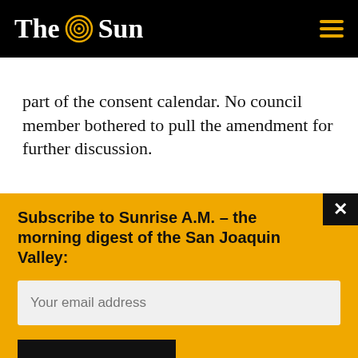The Sun
part of the consent calendar. No council member bothered to pull the amendment for further discussion.
Subscribe to Sunrise A.M. – the morning digest of the San Joaquin Valley:
Your email address
SUBSCRIBE >